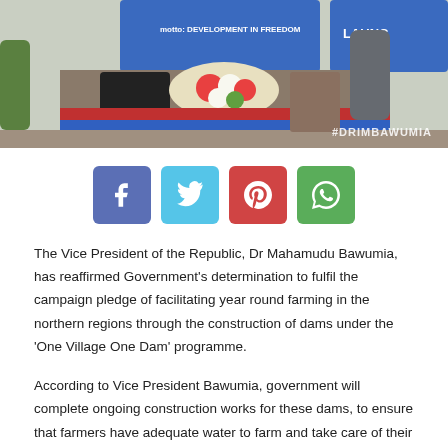[Figure (photo): Photo of a launch event stage with flowers, red and blue draping, and a banner reading 'motto: DEVELOPMENT IN FREEDOM' and 'LAUNCH' visible. Watermark '#DRIMBAWUMIA' in bottom right.]
The Vice President of the Republic, Dr Mahamudu Bawumia, has reaffirmed Government's determination to fulfil the campaign pledge of facilitating year round farming in the northern regions through the construction of dams under the 'One Village One Dam' programme.
According to Vice President Bawumia, government will complete ongoing construction works for these dams, to ensure that farmers have adequate water to farm and take care of their livestock.